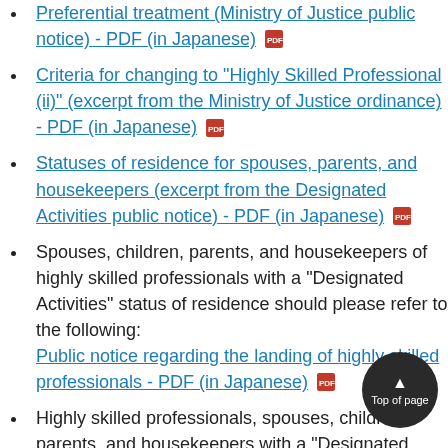Preferential treatment (Ministry of Justice public notice) - PDF (in Japanese)
Criteria for changing to "Highly Skilled Professional (ii)" (excerpt from the Ministry of Justice ordinance) - PDF (in Japanese)
Statuses of residence for spouses, parents, and housekeepers (excerpt from the Designated Activities public notice) - PDF (in Japanese)
Spouses, children, parents, and housekeepers of highly skilled professionals with a "Designated Activities" status of residence should please refer to the following: Public notice regarding the landing of highly skilled professionals - PDF (in Japanese)
Highly skilled professionals, spouses, children, parents, and housekeepers with a "Designated Activities" status of residence should please refer to the following: Residence guidelines for highly skilled professionals - PDF